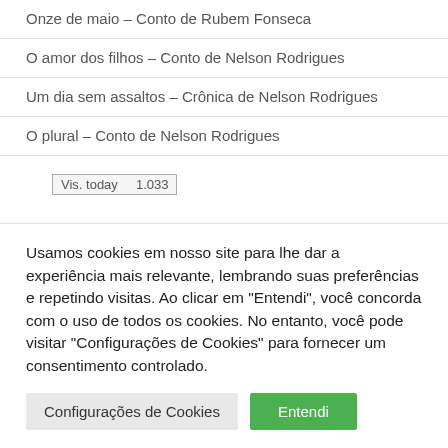Onze de maio – Conto de Rubem Fonseca
O amor dos filhos – Conto de Nelson Rodrigues
Um dia sem assaltos – Crônica de Nelson Rodrigues
O plural – Conto de Nelson Rodrigues
Vis. today   1.033
Usamos cookies em nosso site para lhe dar a experiência mais relevante, lembrando suas preferências e repetindo visitas. Ao clicar em "Entendi", você concorda com o uso de todos os cookies. No entanto, você pode visitar "Configurações de Cookies" para fornecer um consentimento controlado.
Configurações de Cookies
Entendi